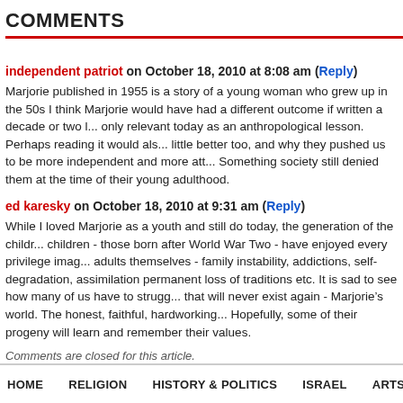COMMENTS
independent patriot on October 18, 2010 at 8:08 am (Reply)
Marjorie published in 1955 is a story of a young woman who grew up in the 50s I think Marjorie would have had a different outcome if written a decade or two later only relevant today as an anthropological lesson. Perhaps reading it would also little better too, and why they pushed us to be more independent and more att... Something society still denied them at the time of their young adulthood.
ed karesky on October 18, 2010 at 9:31 am (Reply)
While I loved Marjorie as a youth and still do today, the generation of the children children - those born after World War Two - have enjoyed every privilege imag... adults themselves - family instability, addictions, self-degradation, assimilation permanent loss of traditions etc. It is sad to see how many of us have to strugg... that will never exist again - Marjorie’s world. The honest, faithful, hardworking... Hopefully, some of their progeny will learn and remember their values.
Comments are closed for this article.
HOME   RELIGION   HISTORY & POLITICS   ISRAEL   ARTS &